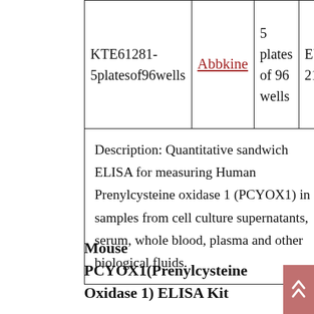| SKU | Brand | Quantity | Price |
| --- | --- | --- | --- |
| KTE61281-5platesof96wells | Abbkine | 5 plates of 96 wells | EUR 2115 |
Description: Quantitative sandwich ELISA for measuring Human Prenylcysteine oxidase 1 (PCYOX1) in samples from cell culture supernatants, serum, whole blood, plasma and other biological fluids.
Mouse PCYOX1(Prenylcysteine Oxidase 1) ELISA Kit